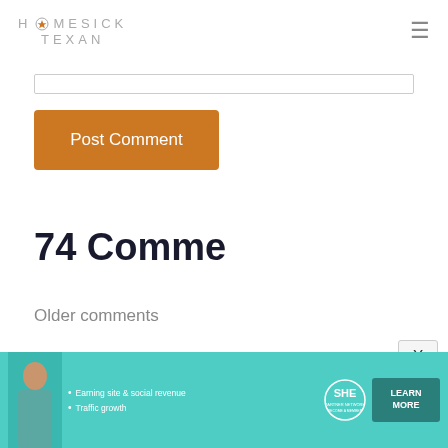HOMESICK TEXAN
Post Comment
74 Comments
Older comments
[Figure (other): Advertisement banner for SHE Media Partner Network with text: Earning site & social revenue, Traffic growth, LEARN MORE]